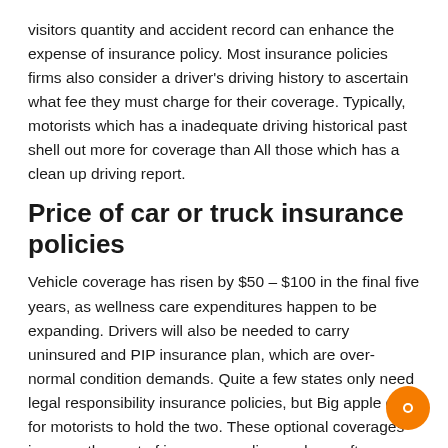visitors quantity and accident record can enhance the expense of insurance policy. Most insurance policies firms also consider a driver's driving history to ascertain what fee they must charge for their coverage. Typically, motorists which has a inadequate driving historical past shell out more for coverage than All those which has a clean up driving report.
Price of car or truck insurance policies
Vehicle coverage has risen by $50 – $100 in the final five years, as wellness care expenditures happen to be expanding. Drivers will also be needed to carry uninsured and PIP insurance plan, which are over-normal condition demands. Quite a few states only need legal responsibility insurance policies, but Big apple calls for motorists to hold the two. These optional coverages improve the cost of insurance policy, and can often improve the whole high quality. And finally, motorists need to Verify their coverage